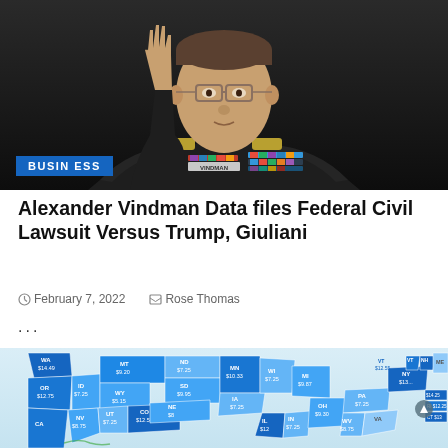[Figure (photo): Military officer in Army dress uniform with name tag VINDMAN raising right hand as if being sworn in, dark background]
BUSINESS
Alexander Vindman Data files Federal Civil Lawsuit Versus Trump, Giuliani
February 7, 2022   Rose Thomas
...
[Figure (map): US state minimum wage map showing states colored in shades of blue with wage values. WA $14.49, OR $12.75, MT $9.20, ID $7.25, WY $5.15, NV $8.75, UT $7.25, CO $12.56, CA (visible bottom), ND $7.25, SD $9.95, NE $8, MN $10.33, IA $7.25, IL $12, WI $7.25, MI $9.87, OH $9.30, IN $7.25, WV $8.75, VA, PA $7.25, NY $13, ME, NH, VT $12.55, CT $13, RI $12.25, NJ $14.25]